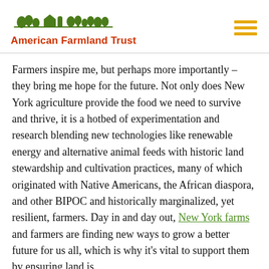American Farmland Trust
Farmers inspire me, but perhaps more importantly – they bring me hope for the future. Not only does New York agriculture provide the food we need to survive and thrive, it is a hotbed of experimentation and research blending new technologies like renewable energy and alternative animal feeds with historic land stewardship and cultivation practices, many of which originated with Native Americans, the African diaspora, and other BIPOC and historically marginalized, yet resilient, farmers. Day in and day out, New York farms and farmers are finding new ways to grow a better future for us all, which is why it's vital to support them by ensuring land is